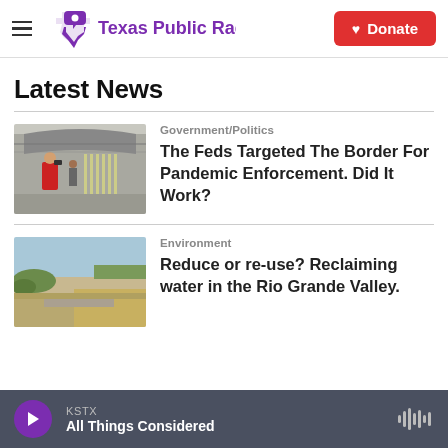Texas Public Radio — Donate
Latest News
[Figure (photo): Border crossing scene with person in red jacket photographing through a fence]
Government/Politics
The Feds Targeted The Border For Pandemic Enforcement. Did It Work?
[Figure (photo): Dry Rio Grande landscape with low vegetation and concrete structures]
Environment
Reduce or re-use? Reclaiming water in the Rio Grande Valley.
KSTX — All Things Considered